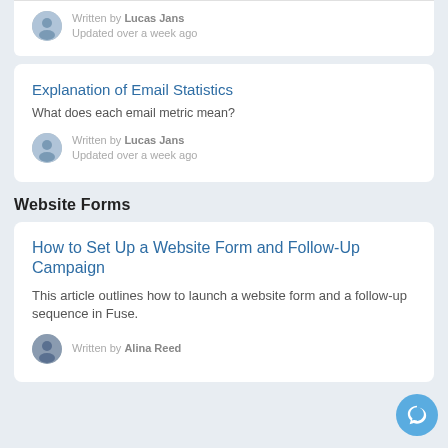Written by Lucas Jans
Updated over a week ago
Explanation of Email Statistics
What does each email metric mean?
Written by Lucas Jans
Updated over a week ago
Website Forms
How to Set Up a Website Form and Follow-Up Campaign
This article outlines how to launch a website form and a follow-up sequence in Fuse.
Written by Alina Reed